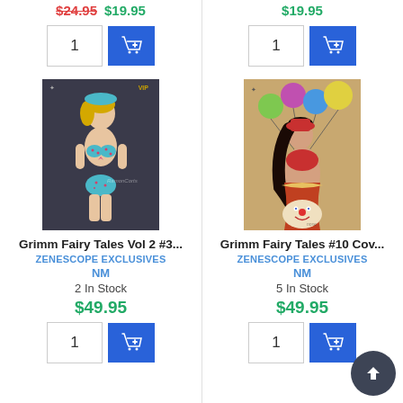[Figure (screenshot): E-commerce product listing page showing two comic book product cards side by side. Each card has a quantity input box, add-to-cart button, product image, title, publisher, condition, stock count, and price.]
$49.95
$49.95
[Figure (illustration): Comic book cover art - Grimm Fairy Tales Vol 2 #3, shows a blonde woman in a blue polka dot bikini]
Grimm Fairy Tales Vol 2 #3...
ZENESCOPE EXCLUSIVES
NM
2 In Stock
$49.95
[Figure (illustration): Comic book cover art - Grimm Fairy Tales #10 Cov..., shows a dark-haired woman in red with balloons and a clown]
Grimm Fairy Tales #10 Cov...
ZENESCOPE EXCLUSIVES
NM
5 In Stock
$49.95